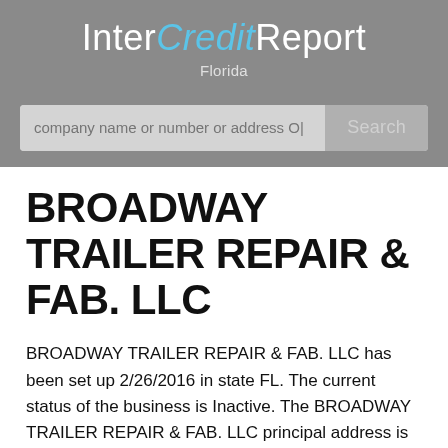InterCreditReport Florida
BROADWAY TRAILER REPAIR & FAB. LLC
BROADWAY TRAILER REPAIR & FAB. LLC has been set up 2/26/2016 in state FL. The current status of the business is Inactive. The BROADWAY TRAILER REPAIR & FAB. LLC principal address is 5425 Carmack rd, TAMPA, FL, 33610. Meanwhile you can send your letters to 5425 Carmack rd, TAMPA, Fla 33610. The...